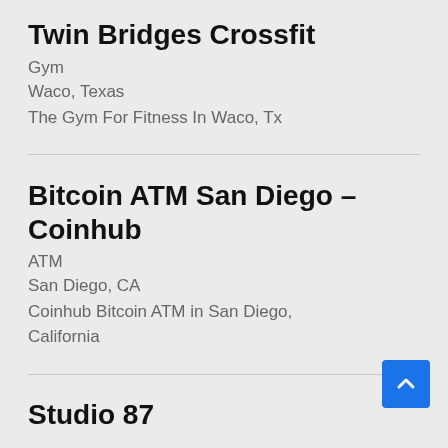Twin Bridges Crossfit
Gym
Waco, Texas
The Gym For Fitness In Waco, Tx
Bitcoin ATM San Diego – Coinhub
ATM
San Diego, CA
Coinhub Bitcoin ATM in San Diego, California
Studio 87